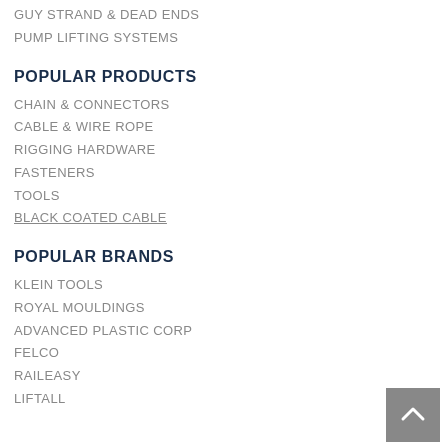GUY STRAND & DEAD ENDS
PUMP LIFTING SYSTEMS
POPULAR PRODUCTS
CHAIN & CONNECTORS
CABLE & WIRE ROPE
RIGGING HARDWARE
FASTENERS
TOOLS
BLACK COATED CABLE
POPULAR BRANDS
KLEIN TOOLS
ROYAL MOULDINGS
ADVANCED PLASTIC CORP
FELCO
RAILEASY
LIFTALL